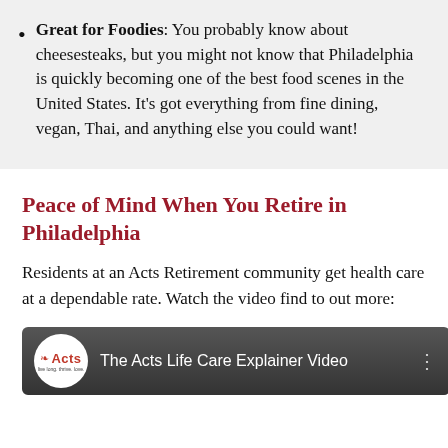Great for Foodies: You probably know about cheesesteaks, but you might not know that Philadelphia is quickly becoming one of the best food scenes in the United States. It's got everything from fine dining, vegan, Thai, and anything else you could want!
Peace of Mind When You Retire in Philadelphia
Residents at an Acts Retirement community get health care at a dependable rate. Watch the video find to out more:
[Figure (screenshot): YouTube video thumbnail showing Acts logo and title 'The Acts Life Care Explainer Video' on a dark gray background]